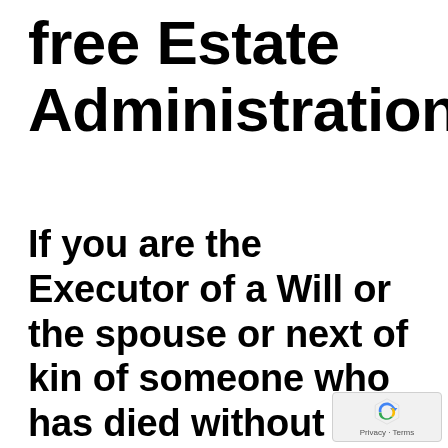free Estate Administration
If you are the Executor of a Will or the spouse or next of kin of someone who has died without a Will, navigating these circumstances can be difficult and confusing. We deal with these issues on a